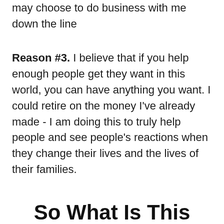may choose to do business with me down the line
Reason #3. I believe that if you help enough people get they want in this world, you can have anything you want. I could retire on the money I've already made - I am doing this to truly help people and see people's reactions when they change their lives and the lives of their families.
So What Is This